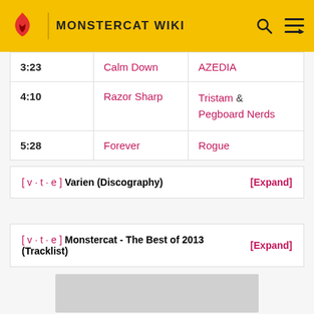MONSTERCAT WIKI
| Time | Title | Artist |
| --- | --- | --- |
| 3:23 | Calm Down | AZEDIA |
| 4:10 | Razor Sharp | Tristam & Pegboard Nerds |
| 5:28 | Forever | Rogue |
[ v · t · e ] Varien (Discography) [Expand]
[ v · t · e ] Monstercat - The Best of 2013 (Tracklist) [Expand]